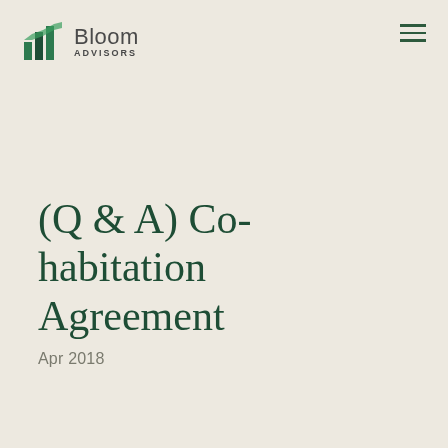[Figure (logo): Bloom Advisors logo with green bar chart icon and text]
(Q & A) Co-habitation Agreement
Apr 2018